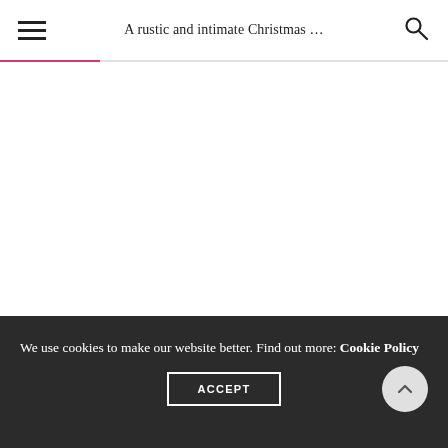A rustic and intimate Christmas ...
We use cookies to make our website better. Find out more: Cookie Policy
ACCEPT